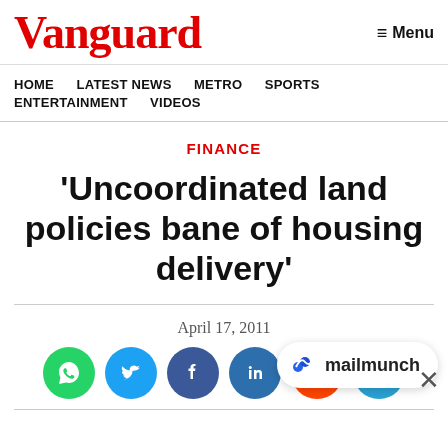Vanguard  ≡ Menu
HOME  LATEST NEWS  METRO  SPORTS  ENTERTAINMENT  VIDEOS
FINANCE
'Uncoordinated land policies bane of housing delivery'
April 17, 2011
[Figure (other): Social share buttons: WhatsApp, Twitter, Facebook, LinkedIn, Reddit, Telegram circles]
[Figure (logo): Mailmunch badge with logo and text 'mailmunch']
×